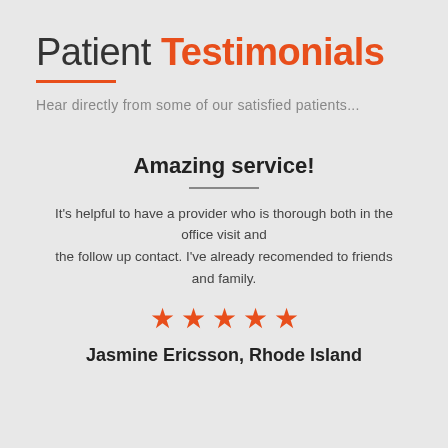Patient Testimonials
Hear directly from some of our satisfied patients...
Amazing service!
It's helpful to have a provider who is thorough both in the office visit and the follow up contact. I've already recomended to friends and family.
★★★★★
Jasmine Ericsson, Rhode Island